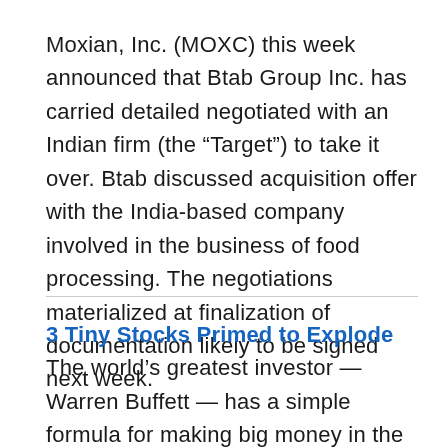Moxian, Inc. (MOXC) this week announced that Btab Group Inc. has carried detailed negotiated with an Indian firm (the “Target”) to take it over. Btab discussed acquisition offer with the India-based company involved in the business of food processing. The negotiations materialized at finalization of documentation likely to be signed next week.
3 Tiny Stocks Primed to Explode The world’s greatest investor — Warren Buffett — has a simple formula for making big money in the